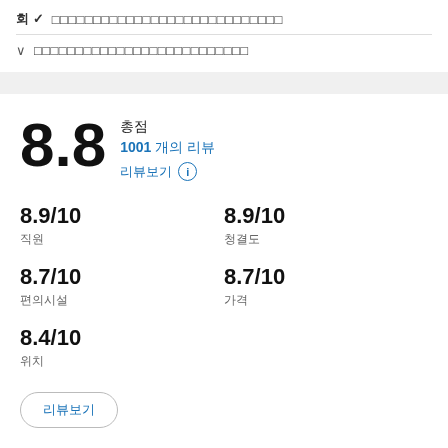회 ✓  □□□□□□□□□□□□□□□□□□□□□□□□□□□□
∨  □□□□□□□□□□□□□□□□□□□□□□□□□
8.8 총점 1001 개의 리뷰 리뷰보기 ⓘ
8.9/10 직원
8.9/10 청결도
8.7/10 편의시설
8.7/10 가격
8.4/10 위치
리뷰보기